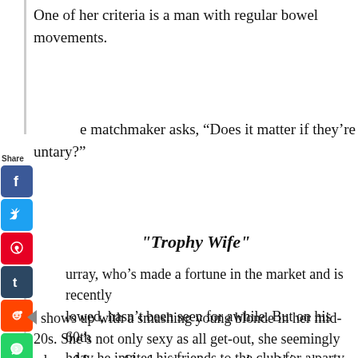One of her criteria is a man with regular bowel movements.
The matchmaker asks, “Does it matter if they’re voluntary?”
"Trophy Wife"
Murray, who’s made a fortune in the market and is recently widowed, hasn’t been seen for awhile. But on his 60th birthday he invites his friends to the club for a party.
He shows up with a smashing young blonde in her mid-20s. She’s not only sexy as all get-out, she seemingly adores Murray. She laughs at every clever thing he says, and hangs all over him.